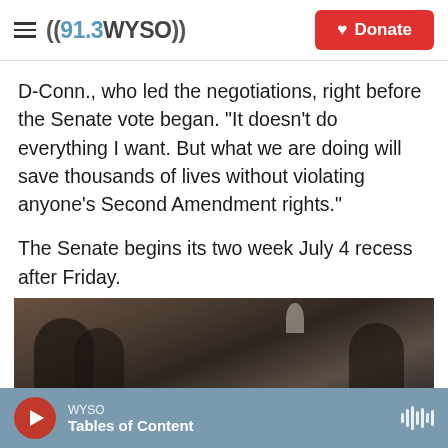((91.3 WYSO)) Donate
D-Conn., who led the negotiations, right before the Senate vote began. "It doesn't do everything I want. But what we are doing will save thousands of lives without violating anyone's Second Amendment rights."
The Senate begins its two week July 4 recess after Friday.
Copyright 2022 NPR. To see more, visit https://www.npr.org.
[Figure (photo): Partially visible photo of people in what appears to be an indoor setting]
WYSO — Tables of Content (audio player bar)